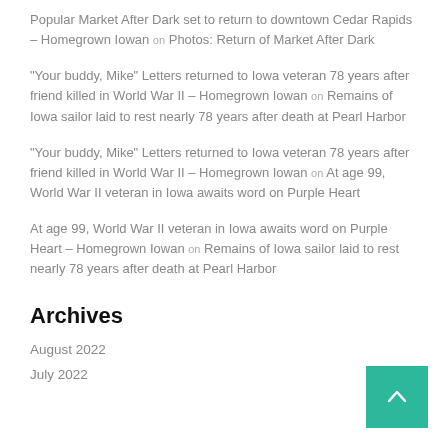Popular Market After Dark set to return to downtown Cedar Rapids – Homegrown Iowan on Photos: Return of Market After Dark
"Your buddy, Mike" Letters returned to Iowa veteran 78 years after friend killed in World War II – Homegrown Iowan on Remains of Iowa sailor laid to rest nearly 78 years after death at Pearl Harbor
"Your buddy, Mike" Letters returned to Iowa veteran 78 years after friend killed in World War II – Homegrown Iowan on At age 99, World War II veteran in Iowa awaits word on Purple Heart
At age 99, World War II veteran in Iowa awaits word on Purple Heart – Homegrown Iowan on Remains of Iowa sailor laid to rest nearly 78 years after death at Pearl Harbor
Archives
August 2022
July 2022